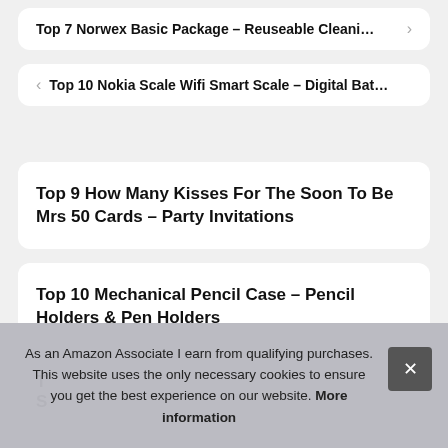Top 7 Norwex Basic Package – Reuseable Cleani…
Top 10 Nokia Scale Wifi Smart Scale – Digital Bat…
Top 9 How Many Kisses For The Soon To Be Mrs 50 Cards – Party Invitations
Top 10 Mechanical Pencil Case – Pencil Holders & Pen Holders
As an Amazon Associate I earn from qualifying purchases. This website uses the only necessary cookies to ensure you get the best experience on our website. More information